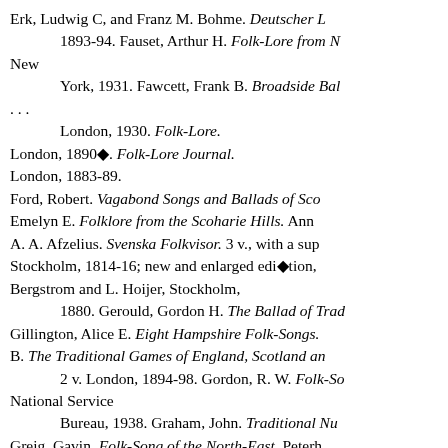Erk, Ludwig C, and Franz M. Bohme. Deutscher L 1893-94. Fauset, Arthur H. Folk-Lore from N New York, 1931. Fawcett, Frank B. Broadside Bal . . . London, 1930. Folk-Lore. London, 1890◆. Folk-Lore Journal. London, 1883-89. Ford, Robert. Vagabond Songs and Ballads of Sco Emelyn E. Folklore from the Scoharie Hills. Ann A. A. Afzelius. Svenska Folkvisor. 3 v., with a sup Stockholm, 1814-16; new and enlarged edi◆tion, Bergstrom and L. Hoijer, Stockholm, 1880. Gerould, Gordon H. The Ballad of Trad Gillington, Alice E. Eight Hampshire Folk-Songs. B. The Traditional Games of England, Scotland an 2 v. London, 1894-98. Gordon, R. W. Folk-So National Service Bureau, 1938. Graham, John. Traditional Nu Greig, Gavin. Folk-Song of the North-East. Peterh ---. Last Leaves of Traditional Ballads and Ballad